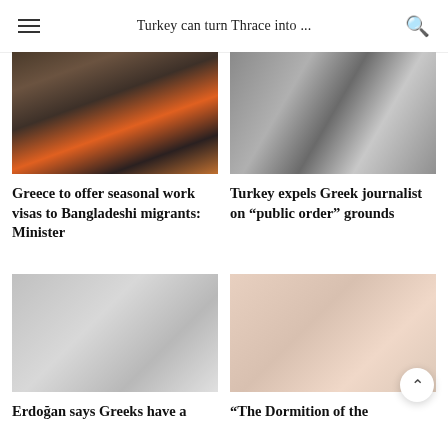Turkey can turn Thrace into ...
[Figure (photo): Crowd of people, appears to be a demonstration or gathering, colorful orange clothing visible]
Greece to offer seasonal work visas to Bangladeshi migrants: Minister
[Figure (photo): Black and white photo of what appears to be a person or people, blurred]
Turkey expels Greek journalist on “public order” grounds
[Figure (photo): Blurred gray photo, low detail]
Erdoğan says Greeks have a
[Figure (photo): Blurred peach/beige toned photo]
“The Dormition of the